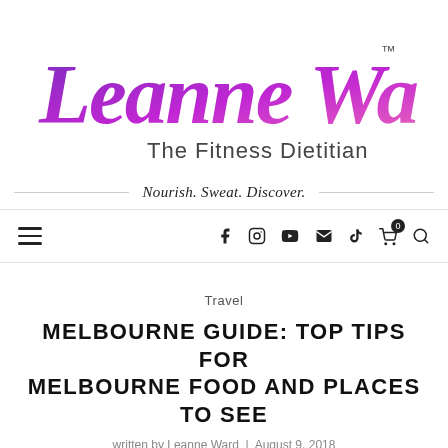[Figure (logo): Leanne Ward The Fitness Dietitian logo in purple/magenta gradient script font with TM mark]
Nourish. Sweat. Discover.
[Figure (other): Navigation bar with hamburger menu on left and social icons (Facebook, Instagram, YouTube, Email, TikTok, Cart with 0 badge, Search) on right]
Travel
MELBOURNE GUIDE: TOP TIPS FOR MELBOURNE FOOD AND PLACES TO SEE
written by Leanne Ward | August 9, 2018